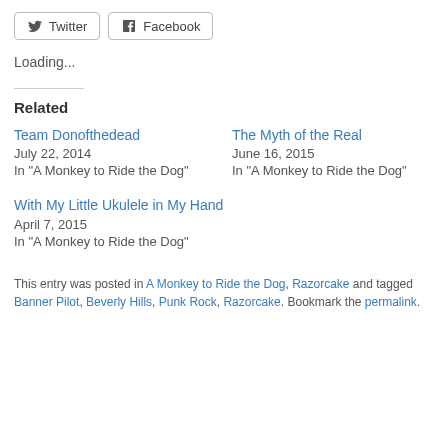[Figure (other): Twitter and Facebook share buttons]
Loading...
Related
Team Donofthedead
July 22, 2014
In "A Monkey to Ride the Dog"
The Myth of the Real
June 16, 2015
In "A Monkey to Ride the Dog"
With My Little Ukulele in My Hand
April 7, 2015
In "A Monkey to Ride the Dog"
This entry was posted in A Monkey to Ride the Dog, Razorcake and tagged Banner Pilot, Beverly Hills, Punk Rock, Razorcake. Bookmark the permalink.